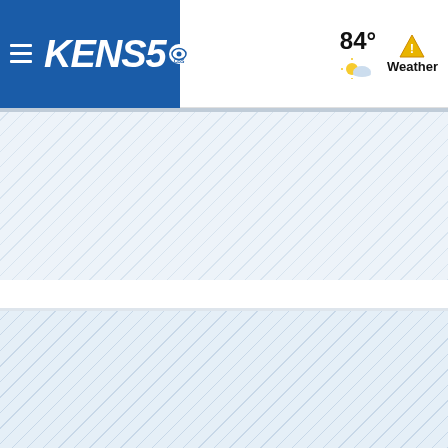[Figure (screenshot): KENS5 news website header/navigation bar. Blue left section with hamburger menu icon and KENS5 logo in white italic text with CBS eye logo. Right side shows 84° temperature, partly cloudy weather icon, warning triangle icon, and 'Weather' label. Below are two content placeholder areas with diagonal stripe patterns (loading/placeholder content areas).]